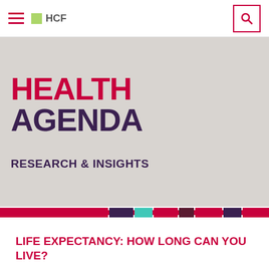HCF
HEALTH AGENDA
RESEARCH & INSIGHTS
[Figure (other): Colored segmented divider strip with crimson, dark purple, teal, and maroon blocks]
LIFE EXPECTANCY: HOW LONG CAN YOU LIVE?